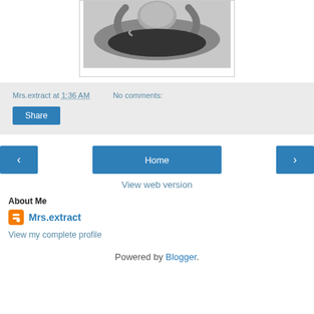[Figure (photo): Black and white photo of a person in a dark outfit, lying down, partially visible at top of page]
Mrs.extract at 1:36 AM   No comments:
Share
Home
View web version
About Me
Mrs.extract
View my complete profile
Powered by Blogger.